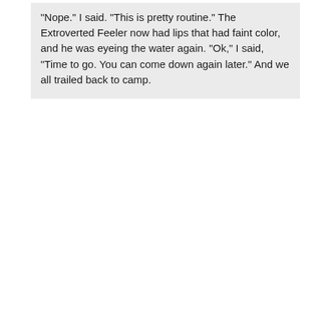"Nope." I said. "This is pretty routine." The Extroverted Feeler now had lips that had faint color, and he was eyeing the water again. "Ok," I said, "Time to go. You can come down again later." And we all trailed back to camp.
Category: « The Introverted Thinker and the Extroverted Feeler »
[Figure (other): Social sharing icons: Twitter, Facebook, Delicious, Digg, StumbleUpon, Reddit. Also 'I like it!' button and '1 C!' count.]
The Introverted Thinker
The Extroverted Feeler makes me yell at my
The Extroverted Feeler and
The Water Babies